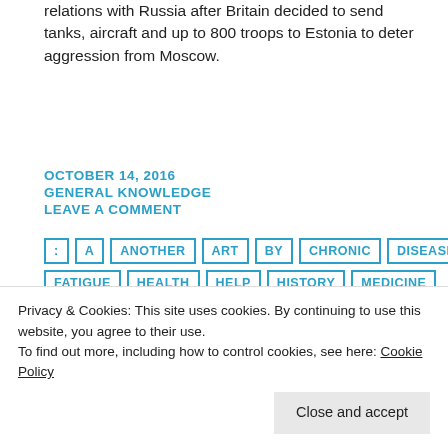relations with Russia after Britain decided to send tanks, aircraft and up to 800 troops to Estonia to deter aggression from Moscow.
OCTOBER 14, 2016
GENERAL KNOWLEDGE
LEAVE A COMMENT
:
A
ANOTHER
ART
BY
CHRONIC
DISEASES
FATIGUE
HEALTH
HELP
HISTORY
MEDICINE
MYSTERY
NAME
NEUROIMMUNE
NEWS
OF
POLIO
Privacy & Cookies: This site uses cookies. By continuing to use this website, you agree to their use. To find out more, including how to control cookies, see here: Cookie Policy
Close and accept